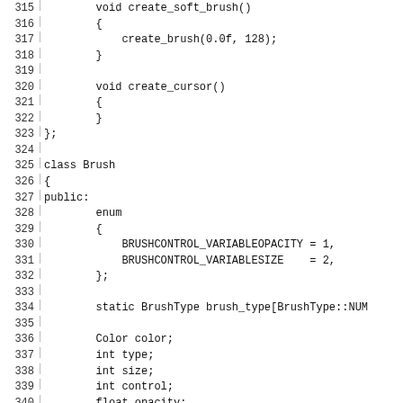Source code listing, lines 314-344, showing C++ class definitions for soft brush and cursor creation, and the beginning of a Brush class with enum BRUSHCONTROL values, static members, and basic type/size/control/opacity fields.